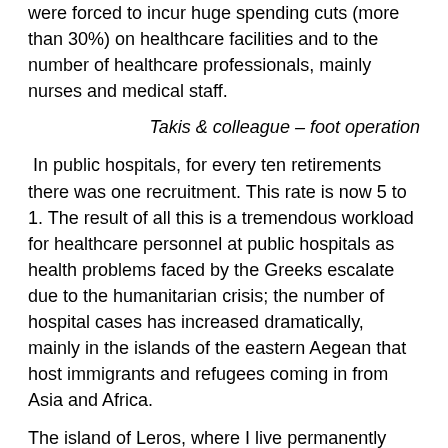were forced to incur huge spending cuts (more than 30%) on healthcare facilities and to the number of healthcare professionals, mainly nurses and medical staff.
Takis & colleague – foot operation
In public hospitals, for every ten retirements there was one recruitment. This rate is now 5 to 1. The result of all this is a tremendous workload for healthcare personnel at public hospitals as health problems faced by the Greeks escalate due to the humanitarian crisis; the number of hospital cases has increased dramatically, mainly in the islands of the eastern Aegean that host immigrants and refugees coming in from Asia and Africa.
The island of Leros, where I live permanently with my family, is one of the 5 islands in the eastern Aegean where there are facilities for refugee accommodation and